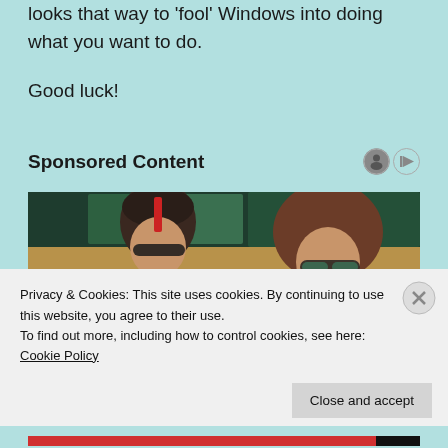looks that way to 'fool' Windows into doing what you want to do.
Good luck!
Sponsored Content
[Figure (photo): Two people wearing sunglasses seated in a stadium or event venue with green and yellow seating in the background.]
Privacy & Cookies: This site uses cookies. By continuing to use this website, you agree to their use.
To find out more, including how to control cookies, see here: Cookie Policy